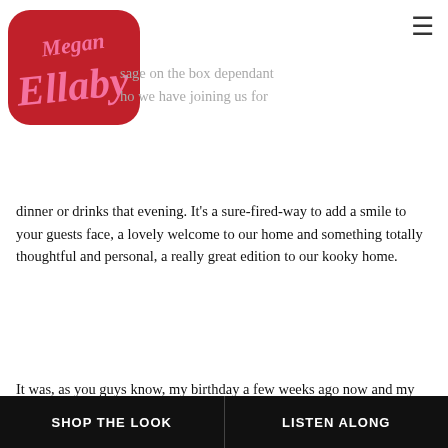[Figure (logo): Megan Ellaby logo in pink and red retro script style]
...sage on the box dependant ...ho we have joining us for dinner or drinks that evening. It's a sure-fired-way to add a smile to your guests face, a lovely welcome to our home and something totally thoughtful and personal, a really great edition to our kooky home.
It was, as you guys know, my birthday a few weeks ago now and my parents kindly gave me a beautiful illustration of myself by the incredibly talented Daria. Daria tagged me in her illustration on Instagram a few months ago and my dad loved it so much he got in touch with Daria to ask for a ...re to see if she co... ...ing in gift. Both ill...
SHOP THE LOOK    LISTEN ALONG